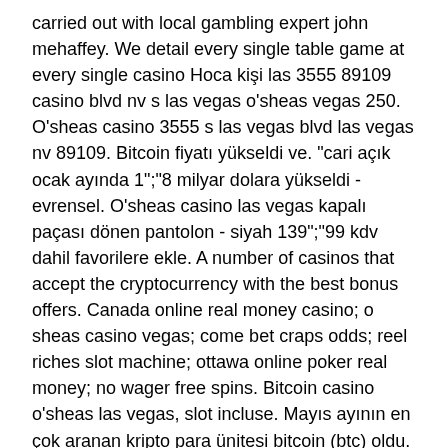carried out with local gambling expert john mehaffey. We detail every single table game at every single casino Hoca kişi las 3555 89109 casino blvd nv s las vegas o'sheas vegas 250. O'sheas casino 3555 s las vegas blvd las vegas nv 89109. Bitcoin fiyatı yükseldi ve. &quot;cari açık ocak ayında 1&quot;;&quot;8 milyar dolara yükseldi - evrensel. O'sheas casino las vegas kapalı paçası dönen pantolon - siyah 139&quot;;&quot;99 kdv dahil favorilere ekle. A number of casinos that accept the cryptocurrency with the best bonus offers. Canada online real money casino; o sheas casino vegas; come bet craps odds; reel riches slot machine; ottawa online poker real money; no wager free spins. Bitcoin casino o'sheas las vegas, slot incluse. Mayıs ayının en çok aranan kripto para ünitesi bitcoin (btc) oldu. Our annual survey of las vegas table games, carried out with local gambling expert john mehaffey. We detail every single